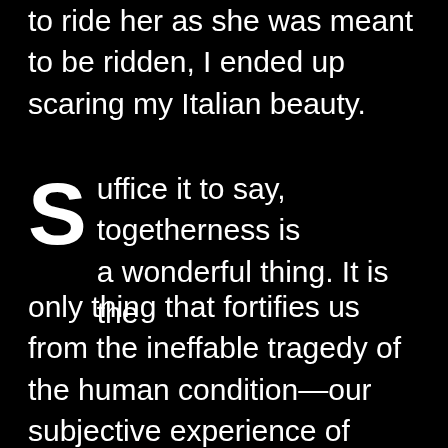to ride her as she was meant to be ridden, I ended up scaring my Italian beauty.
Suffice it to say, togetherness is a wonderful thing. It is the only thing that fortifies us from the ineffable tragedy of the human condition—our subjective experience of reality that insists on our fundamental aloneness, our inability to truly know one another,